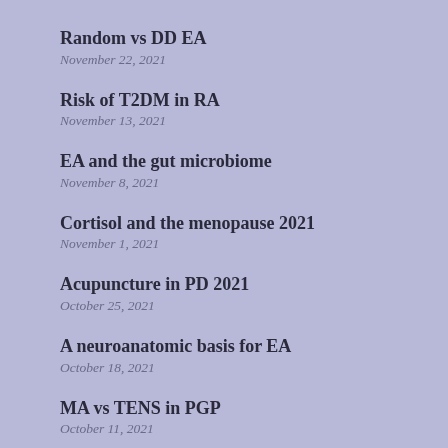Random vs DD EA
November 22, 2021
Risk of T2DM in RA
November 13, 2021
EA and the gut microbiome
November 8, 2021
Cortisol and the menopause 2021
November 1, 2021
Acupuncture in PD 2021
October 25, 2021
A neuroanatomic basis for EA
October 18, 2021
MA vs TENS in PGP
October 11, 2021